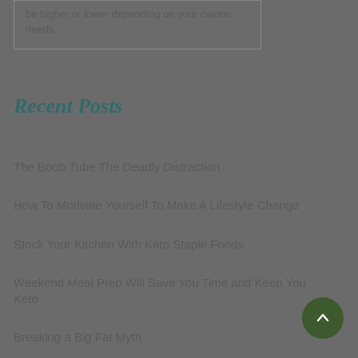be higher or lower depending on your calorie needs.
Recent Posts
The Boob Tube The Deadly Distraction
How To Motivate Yourself To Make A Lifestyle Change
Stock Your Kitchen With Keto Staple Foods
Weekend Meal Prep Will Save You Time and Keep You Keto
Breaking a Big Fat Myth